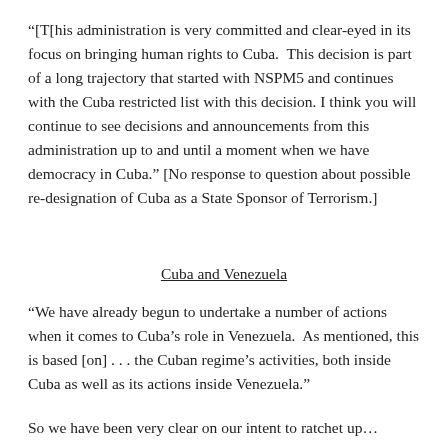“[T[his administration is very committed and clear-eyed in its focus on bringing human rights to Cuba.  This decision is part of a long trajectory that started with NSPM5 and continues with the Cuba restricted list with this decision. I think you will continue to see decisions and announcements from this administration up to and until a moment when we have democracy in Cuba.” [No response to question about possible re-designation of Cuba as a State Sponsor of Terrorism.]
Cuba and Venezuela
“We have already begun to undertake a number of actions when it comes to Cuba’s role in Venezuela.  As mentioned, this is based [on] . . . the Cuban regime’s activities, both inside Cuba as well as its actions inside Venezuela.”
So we have been very clear on our intent to ratchet up...